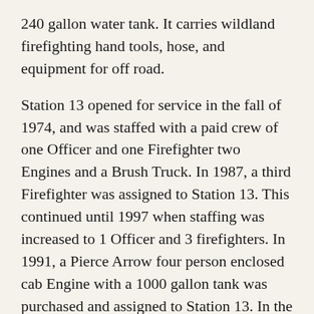240 gallon water tank. It carries wildland firefighting hand tools, hose, and equipment for off road.
Station 13 opened for service in the fall of 1974, and was staffed with a paid crew of one Officer and one Firefighter two Engines and a Brush Truck. In 1987, a third Firefighter was assigned to Station 13. This continued until 1997 when staffing was increased to 1 Officer and 3 firefighters. In 1991, a Pierce Arrow four person enclosed cab Engine with a 1000 gallon tank was purchased and assigned to Station 13. In the early days Fire Station 13 was the center of the Community and was used for picnics, bar-b-cues, and social events. Prior to the